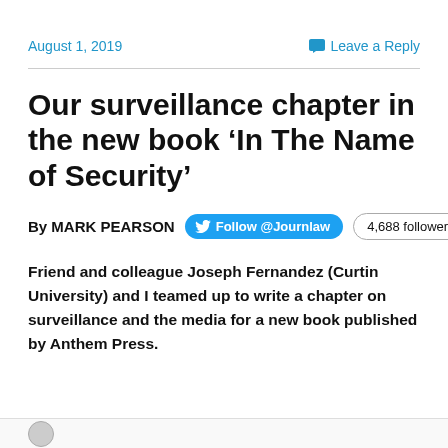August 1, 2019    Leave a Reply
Our surveillance chapter in the new book ‘In The Name of Security’
By MARK PEARSON   Follow @Journlaw   4,688 followers
Friend and colleague Joseph Fernandez (Curtin University) and I teamed up to write a chapter on surveillance and the media for a new book published by Anthem Press.